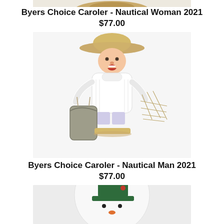[Figure (photo): Partial view of Byers Choice Caroler Nautical Woman figurine (cropped at top, showing only the hat/top portion)]
Byers Choice Caroler - Nautical Woman 2021
$77.00
[Figure (photo): Byers Choice Caroler Nautical Man 2021 figurine: a caroler wearing a straw hat, white turtleneck sweater, holding a fishing net and burlap bag, mounted on a small base]
Byers Choice Caroler - Nautical Man 2021
$77.00
[Figure (photo): Partial view of a white snowman figurine with a green hat with red accent, visible from nose down (cropped at bottom of page)]